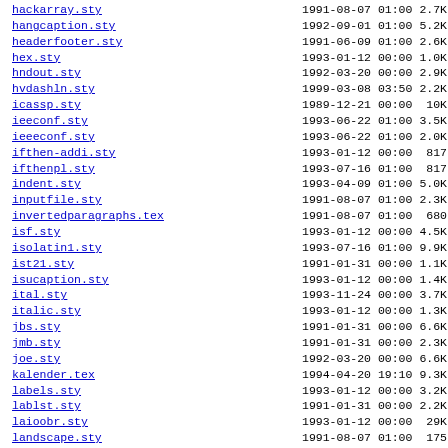| Filename | Date | Time | Size |
| --- | --- | --- | --- |
| hackarray.sty | 1991-08-07 | 01:00 | 2.7K |
| hangcaption.sty | 1992-09-01 | 01:00 | 5.2K |
| headerfooter.sty | 1991-06-09 | 01:00 | 2.6K |
| hex.sty | 1993-01-12 | 00:00 | 1.0K |
| hndout.sty | 1992-03-20 | 00:00 | 2.9K |
| hvdashln.sty | 1999-03-08 | 03:50 | 2.2K |
| icassp.sty | 1989-12-21 | 00:00 | 10K |
| ieeconf.sty | 1993-06-22 | 01:00 | 3.5K |
| ieeeconf.sty | 1993-06-22 | 01:00 | 2.0K |
| ifthen-addi.sty | 1993-01-12 | 00:00 | 817 |
| ifthenpl.sty | 1993-07-16 | 01:00 | 817 |
| indent.sty | 1993-04-09 | 01:00 | 5.0K |
| inputfile.sty | 1991-08-07 | 01:00 | 2.3K |
| invertedparagraphs.tex | 1991-08-07 | 01:00 | 680 |
| isf.sty | 1993-01-12 | 00:00 | 4.5K |
| isolatin1.sty | 1993-07-16 | 01:00 | 9.9K |
| ist21.sty | 1991-01-31 | 00:00 | 1.1K |
| isucaption.sty | 1993-01-12 | 00:00 | 1.4K |
| ital.sty | 1993-11-24 | 00:00 | 3.7K |
| italic.sty | 1993-01-12 | 00:00 | 1.3K |
| jbs.sty | 1991-01-31 | 00:00 | 6.6K |
| jmb.sty | 1991-01-31 | 00:00 | 2.3K |
| joe.sty | 1992-03-20 | 00:00 | 6.6K |
| kalender.tex | 1994-04-20 | 19:10 | 9.3K |
| labels.sty | 1993-01-12 | 00:00 | 3.2K |
| lablst.sty | 1991-01-31 | 00:00 | 2.2K |
| laioobr.sty | 1993-01-12 | 00:00 | 29K |
| landscape.sty | 1991-08-07 | 01:00 | 175 |
| latex-go-board.tex | 1991-08-07 | 01:00 | 1.3K |
| lcaption.sty | 1991-07-06 | 01:00 | 1.6K |